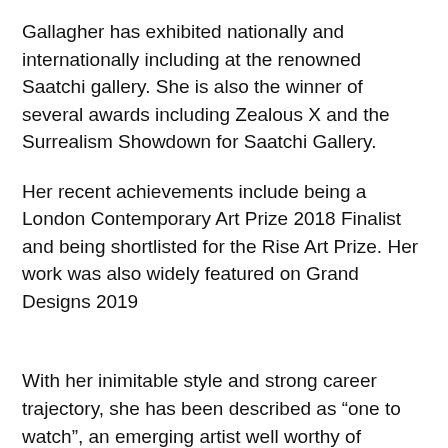Gallagher has exhibited nationally and internationally including at the renowned Saatchi gallery. She is also the winner of several awards including Zealous X and the Surrealism Showdown for Saatchi Gallery.
Her recent achievements include being a London Contemporary Art Prize 2018 Finalist and being shortlisted for the Rise Art Prize. Her work was also widely featured on Grand Designs 2019
With her inimitable style and strong career trajectory, she has been described as “one to watch”, an emerging artist well worthy of collecting.